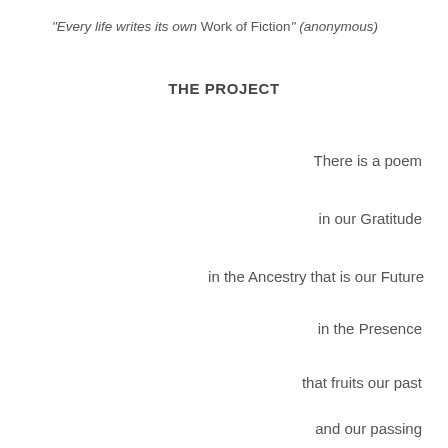“Every life writes its own Work of Fiction” (anonymous)
THE PROJECT
There is a poem

in our Gratitude

in the Ancestry that is our Future

in the Presence

that fruits our past

and our passing

(Bronwyn Preece)